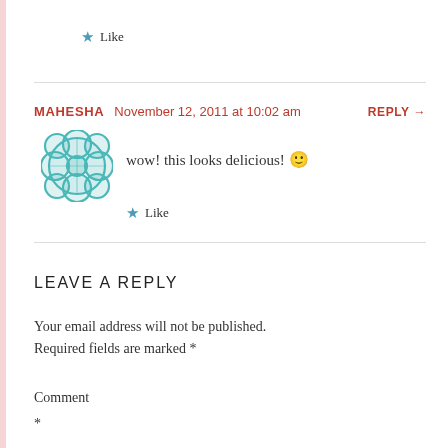★ Like
MAHESHA   November 12, 2011 at 10:02 am   REPLY →
[Figure (illustration): Teal decorative avatar icon with geometric flower/cross pattern]
wow! this looks delicious! 🙂
★ Like
LEAVE A REPLY
Your email address will not be published. Required fields are marked *
Comment
*